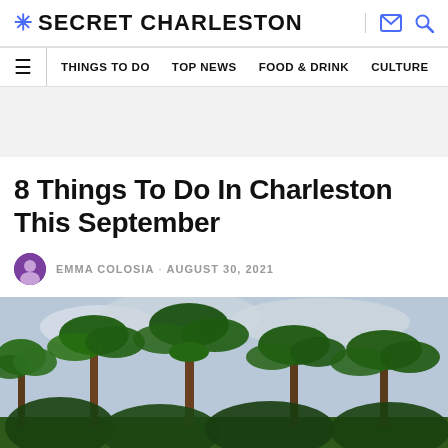* SECRET CHARLESTON
THINGS TO DO  TOP NEWS  FOOD & DRINK  CULTURE
8 Things To Do In Charleston This September
EMMA COLOSIA · AUGUST 30, 2021
[Figure (photo): Outdoor scene with palm trees and tropical greenery against a cloudy sky]